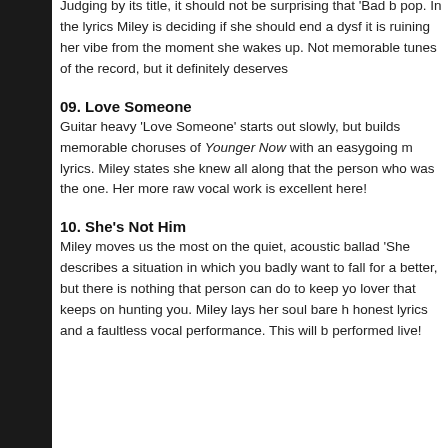Judging by its title, it should not be surprising that 'Bad M pop. In the lyrics Miley is deciding if she should end a dysf it is ruining her vibe from the moment she wakes up. Not memorable tunes of the record, but it definitely deserves
09. Love Someone
Guitar heavy 'Love Someone' starts out slowly, but builds memorable choruses of Younger Now with an easygoing m lyrics. Miley states she knew all along that the person who was the one. Her more raw vocal work is excellent here!
10. She's Not Him
Miley moves us the most on the quiet, acoustic ballad 'She describes a situation in which you badly want to fall for a better, but there is nothing that person can do to keep yo lover that keeps on hunting you. Miley lays her soul bare h honest lyrics and a faultless vocal performance. This will b performed live!